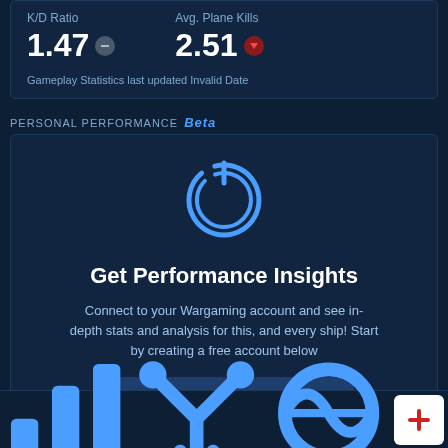K/D Ratio: 1.47 | Avg. Plane Kills: 2.51
Gameplay Statistics last updated Invalid Date
PERSONAL PERFORMANCE beta
[Figure (illustration): Blue circular power/target icon]
Get Performance Insights
Connect to your Wargaming account and see in-depth stats and analysis for this, and every ship! Start by creating a free account below
Create Account
STATISTICS | BUILDS | DETAILS